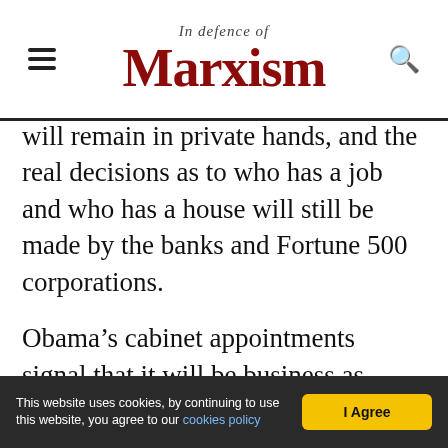In Defence of Marxism
will remain in private hands, and the real decisions as to who has a job and who has a house will still be made by the banks and Fortune 500 corporations.
Obama’s cabinet appointments signal that it will be business as usual in Washington. We will run a series on these appointments and their likely policies in this and future issues of Socialist Appeal. But suffice it to say that he will not bring about an immediate end to the war in Iraq, he wants to expand the war in Afghanistan and has not ruled out a U.S. invasion of Pakistan. As for Latin
This website uses cookies, by continuing to use this website, you agree to our cookies policy   I Agree